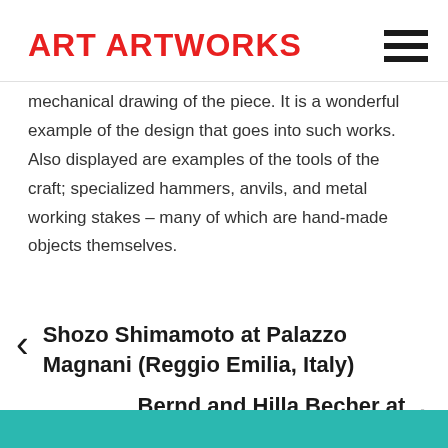ART ARTWORKS
mechanical drawing of the piece. It is a wonderful example of the design that goes into such works. Also displayed are examples of the tools of the craft; specialized hammers, anvils, and metal working stakes – many of which are hand-made objects themselves.
← Shozo Shimamoto at Palazzo Magnani (Reggio Emilia, Italy)
Bernd and Hilla Becher at Fotomuseum Winterthur →